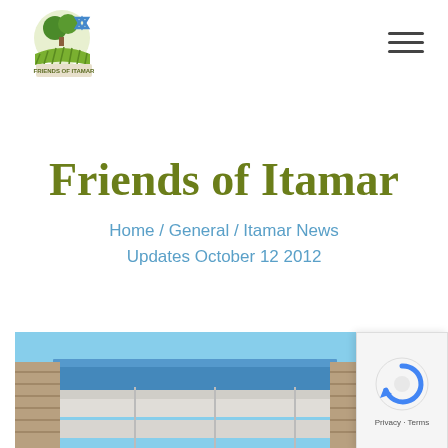[Figure (logo): Friends of Itamar logo with tree and Star of David on a hill with stripes]
[Figure (other): Hamburger menu icon (three horizontal lines) in top right corner]
Friends of Itamar
Home / General / Itamar News Updates October 12 2012
[Figure (photo): Construction site photo showing a building under construction with blue sky]
[Figure (other): reCAPTCHA Privacy - Terms badge in bottom right corner]